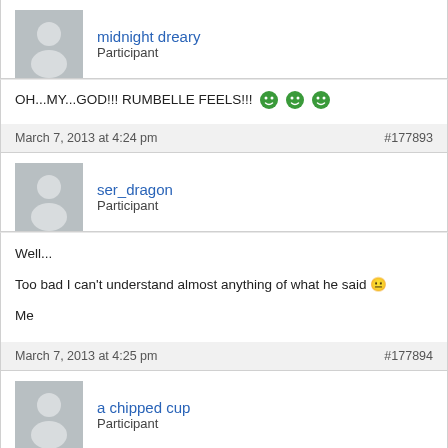[Figure (illustration): Avatar placeholder for midnight dreary]
midnight dreary
Participant
OH...MY...GOD!!! RUMBELLE FEELS!!!
March 7, 2013 at 4:24 pm    #177893
[Figure (illustration): Avatar placeholder for ser_dragon]
ser_dragon
Participant
Well...

Too bad I can't understand almost anything of what he said 😐

Me
March 7, 2013 at 4:25 pm    #177894
[Figure (illustration): Avatar placeholder for a chipped cup]
a chipped cup
Participant